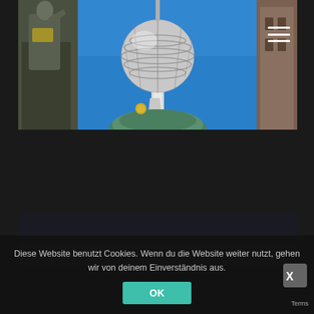[Figure (photo): Photo of Berlin Fernsehturm (TV Tower) with its distinctive spherical globe structure against a blue sky, flanked by a statue on the left and architectural elements on the right. A green dome is visible at the bottom center.]
[Figure (photo): Dark blurred image showing a street or transport scene at night, partially visible as a background element.]
Diese Website benutzt Cookies. Wenn du die Website weiter nutzt, gehen wir von deinem Einverständnis aus.
OK